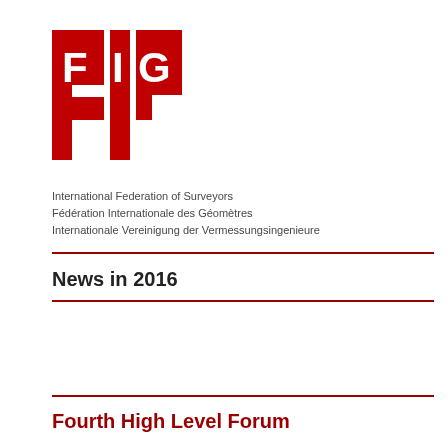[Figure (logo): FIG logo — red rectangles forming F, I, G letters in white on red background]
International Federation of Surveyors
Fédération Internationale des Géomètres
Internationale Vereinigung der Vermessungsingenieure
News in 2016
Fourth High Level Forum